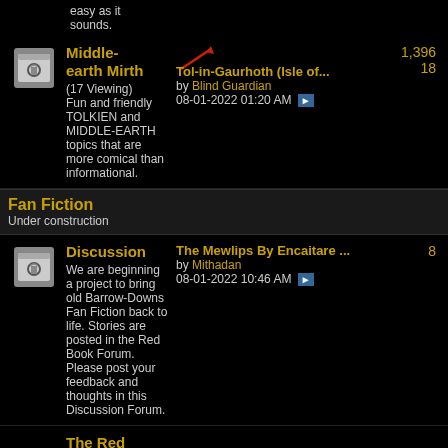easy as it sounds.
Middle-earth Mirth
(17 Viewing) Fun and friendly TOLKIEN and MIDDLE-EARTH topics that are more comical than informational.
Tol-in-Gaurhoth (Isle of... by Blind Guardian 08-01-2022 01:20 AM
1,396  18
Fan Fiction
Under construction
Discussion
We are beginning a project to bring old Barrow-Downs Fan Fiction back to life. Stories are posted in the Red Book Forum. Please post your feedback and thoughts in this Discussion Forum.
The Mewlips By Encaitare ... by Mithadan 08-01-2022 10:46 AM
8
The Red Book